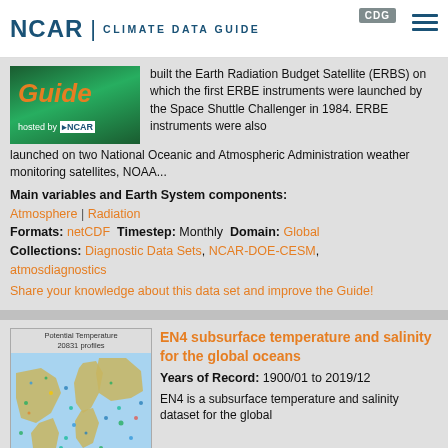NCAR | CLIMATE DATA GUIDE  CDG
built the Earth Radiation Budget Satellite (ERBS) on which the first ERBE instruments were launched by the Space Shuttle Challenger in 1984. ERBE instruments were also launched on two National Oceanic and Atmospheric Administration weather monitoring satellites, NOAA...
Main variables and Earth System components: Atmosphere | Radiation
Formats: netCDF  Timestep: Monthly  Domain: Global  Collections: Diagnostic Data Sets, NCAR-DOE-CESM, atmosdiagnostics
Share your knowledge about this data set and improve the Guide!
[Figure (map): Potential Temperature 20831 profiles - global ocean map with scattered colored data points]
EN4 subsurface temperature and salinity for the global oceans  Years of Record: 1900/01 to 2019/12  EN4 is a subsurface temperature and salinity dataset for the global